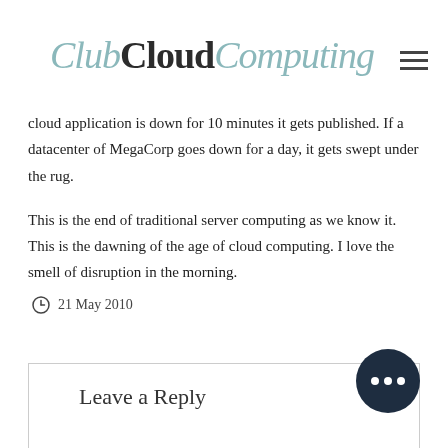ClubCloudComputing
cloud application is down for 10 minutes it gets published. If a datacenter of MegaCorp goes down for a day, it gets swept under the rug.
This is the end of traditional server computing as we know it. This is the dawning of the age of cloud computing. I love the smell of disruption in the morning.
21 May 2010
Leave a Reply